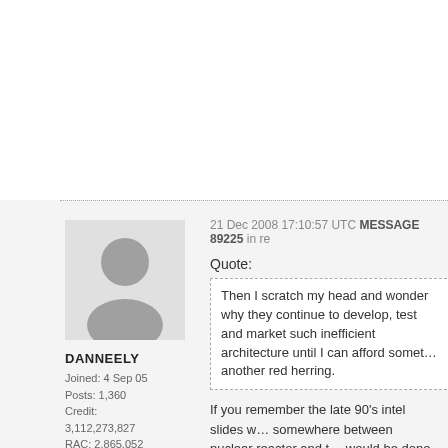[Figure (photo): Gray silhouette avatar of a person]
DANNEELY
Joined: 4 Sep 05
Posts: 1,360
Credit:
3,112,273,827
RAC: 2,865,052
21 Dec 2008 17:10:57 UTC MESSAGE 89225 in re
Quote:
Then I scratch my head and wonder... develop, test and market such inefficient architecture until I can afford something... another red herring.
If you remember the late 90's intel slides w... somewhere between nuclear reactor and t... would be done to abate the problem, and a... acceptable power/thermal envelopes.
|  | DanNeely |  |
| --- | --- | --- |
|  | Credits: | BSrac: |
| Einstein | 3,112,132,686 | 2,997,336 |
| MilkyWay | 78,822,405 | 0 |
| PrimeGrid | 50,152,828 | 45,239 |
| GPUGRID | 34,605,213 | 0 |